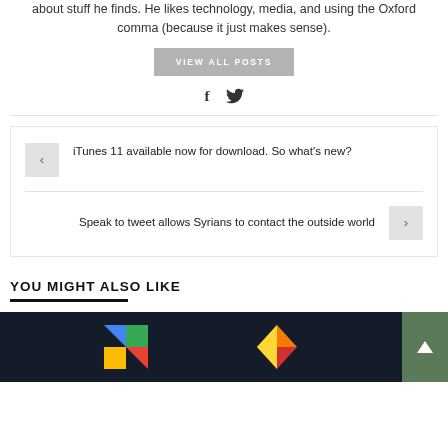about stuff he finds. He likes technology, media, and using the Oxford comma (because it just makes sense).
VIEW ALL POSTS
f  (twitter bird icon)
iTunes 11 available now for download. So what's new?
Speak to tweet allows Syrians to contact the outside world
YOU MIGHT ALSO LIKE
[Figure (photo): Thumbnails row showing dark background images with Google and Firefox/colorful logos, plus a scroll-up button]